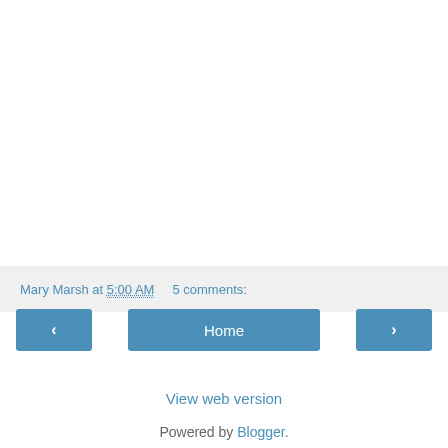Mary Marsh at 5:00 AM   5 comments:
‹  Home  ›
View web version
Powered by Blogger.